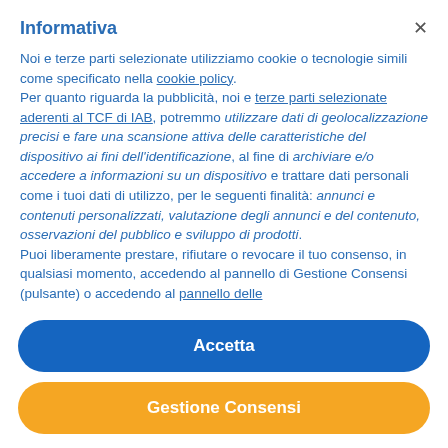Informativa
Noi e terze parti selezionate utilizziamo cookie o tecnologie simili come specificato nella cookie policy. Per quanto riguarda la pubblicità, noi e terze parti selezionate aderenti al TCF di IAB, potremmo utilizzare dati di geolocalizzazione precisi e fare una scansione attiva delle caratteristiche del dispositivo ai fini dell'identificazione, al fine di archiviare e/o accedere a informazioni su un dispositivo e trattare dati personali come i tuoi dati di utilizzo, per le seguenti finalità: annunci e contenuti personalizzati, valutazione degli annunci e del contenuto, osservazioni del pubblico e sviluppo di prodotti. Puoi liberamente prestare, rifiutare o revocare il tuo consenso, in qualsiasi momento, accedendo al pannello di Gestione Consensi (pulsante) o accedendo al pannello delle
Accetta
Gestione Consensi